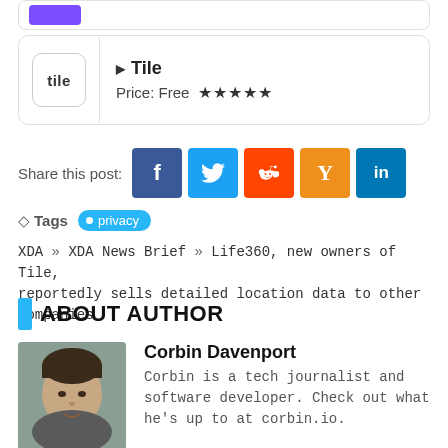[Figure (screenshot): Tile app listing card with logo, name, price, and star rating. Shows 'tile' logo, play button, 'Tile' title, 'Price: Free' and 5 stars.]
Share this post:
[Figure (infographic): Social share buttons: Facebook (blue), Twitter (light blue), Reddit (orange-red), Hacker News Y (orange), LinkedIn (dark blue)]
Tags  privacy
XDA » XDA News Brief » Life360, new owners of Tile, reportedly sells detailed location data to other companies
ABOUT AUTHOR
[Figure (photo): Photo of author Corbin Davenport, a man with dark hair.]
Corbin Davenport
Corbin is a tech journalist and software developer. Check out what he's up to at corbin.io.